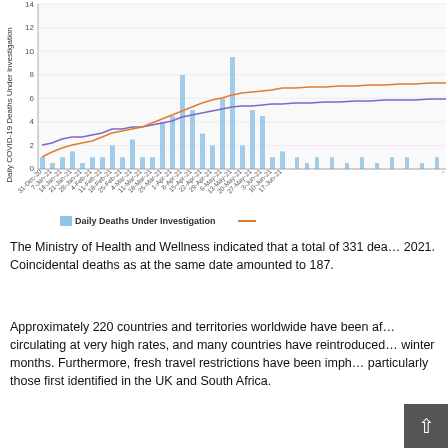[Figure (continuous-plot): Bar and line chart showing daily COVID-19 deaths under investigation from 31-Dec-20 to mid-June 2021, with two trend lines (purple and orange). Bars are light blue representing daily deaths under investigation.]
Daily Deaths Under Investigation (legend)
The Ministry of Health and Wellness indicated that a total of 331 dea... 2021. Coincidental deaths as at the same date amounted to 187.
Approximately 220 countries and territories worldwide have been af... circulating at very high rates, and many countries have reintroduced... winter months. Furthermore, fresh travel restrictions have been imph... particularly those first identified in the UK and South Africa.